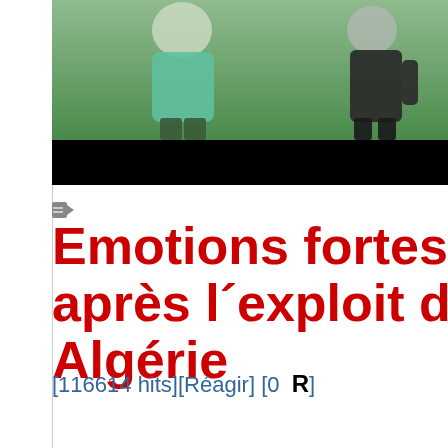[Figure (photo): Video thumbnail showing two people standing, one in a green/teal shirt on the left, another in dark clothing on the right, with a black bar at the bottom of the image.]
Emotions fortes juste après l´exploit des Algérie
[116614 hits][Réagir] [0  R]